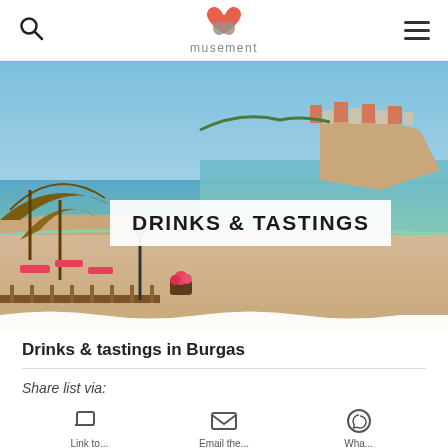musement
[Figure (photo): Scenic coastal beach town photo showing a beach with thatched umbrellas, red lounge chairs, calm sea water, and a historic town with red-roofed buildings on a peninsula in the background under a blue sky. Overlay text reads DRINKS & TASTINGS.]
DRINKS & TASTINGS
Drinks & tastings in Burgas
Share list via: